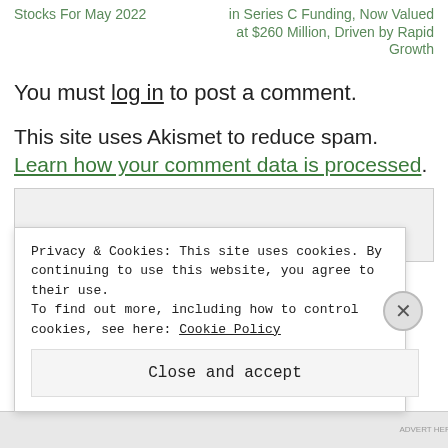Stocks For May 2022
in Series C Funding, Now Valued at $260 Million, Driven by Rapid Growth
You must log in to post a comment.
This site uses Akismet to reduce spam. Learn how your comment data is processed.
Privacy & Cookies: This site uses cookies. By continuing to use this website, you agree to their use.
To find out more, including how to control cookies, see here: Cookie Policy
Close and accept